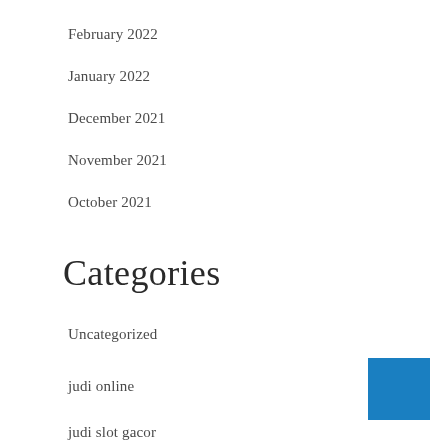February 2022
January 2022
December 2021
November 2021
October 2021
Categories
Uncategorized
judi online
judi slot gacor
[Figure (other): Blue square decorative element in bottom right corner]